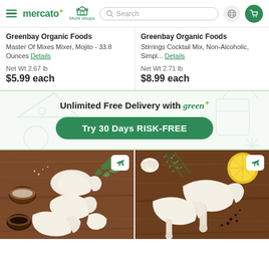[Figure (screenshot): Mercato navigation header with hamburger menu, mercato logo, More shops icon, search bar, globe icon, and green cart icon]
Greenbay Organic Foods
Master Of Mixes Mixer, Mojito - 33.8 Ounces Details
Net Wt 2.67 lb
$5.99 each
Greenbay Organic Foods
Stirrings Cocktail Mix, Non-Alcoholic, Simpl... Details
Net Wt 2.71 lb
$8.99 each
[Figure (infographic): Unlimited Free Delivery with green banner and Try 30 Days RISK-FREE button]
[Figure (photo): Two chicken product photos on wooden cutting boards with herbs and seasonings, each with airplane badge icon]